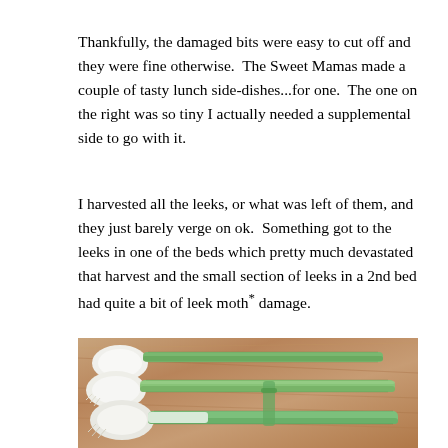Thankfully, the damaged bits were easy to cut off and they were fine otherwise.  The Sweet Mamas made a couple of tasty lunch side-dishes...for one.  The one on the right was so tiny I actually needed a supplemental side to go with it.
I harvested all the leeks, or what was left of them, and they just barely verge on ok.  Something got to the leeks in one of the beds which pretty much devastated that harvest and the small section of leeks in a 2nd bed had quite a bit of leek moth* damage.
[Figure (photo): Photo of harvested leeks laid on a wooden surface. The leeks have white bulb ends on the left and green stalks extending to the right, bundled together.]